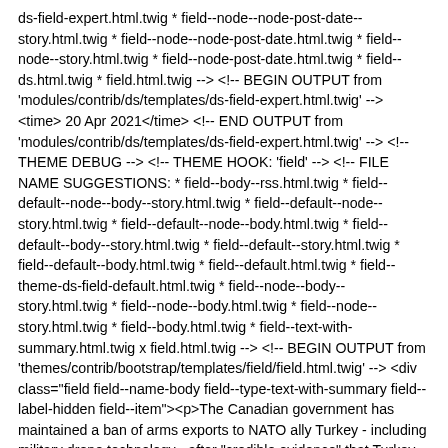ds-field-expert.html.twig * field--node--node-post-date--story.html.twig * field--node--node-post-date.html.twig * field--node--story.html.twig * field--node-post-date.html.twig * field--ds.html.twig * field.html.twig --> <!-- BEGIN OUTPUT from 'modules/contrib/ds/templates/ds-field-expert.html.twig' --> <time> 20 Apr 2021</time> <!-- END OUTPUT from 'modules/contrib/ds/templates/ds-field-expert.html.twig' --> <!-- THEME DEBUG --> <!-- THEME HOOK: 'field' --> <!-- FILE NAME SUGGESTIONS: * field--body--rss.html.twig * field--default--node--body--story.html.twig * field--default--node--story.html.twig * field--default--node--body.html.twig * field--default--body--story.html.twig * field--default--story.html.twig * field--default--body.html.twig * field--default.html.twig * field--theme-ds-field-default.html.twig * field--node--body--story.html.twig * field--node--body.html.twig * field--node--story.html.twig * field--body.html.twig * field--text-with-summary.html.twig x field.html.twig --> <!-- BEGIN OUTPUT from 'themes/contrib/bootstrap/templates/field/field.html.twig' --> <div class="field field--name-body field--type-text-with-summary field--label-hidden field--item"><p>The Canadian government has maintained a ban of arms exports to NATO ally Turkey - including military drone technology - after "credible evidence" that Turkey had supplied weapons used by Azerbaijan in the recent conflict with Armenia. Evidence included images of a Turkish <span>Bayraktar TB2 combat drone which was shot down by